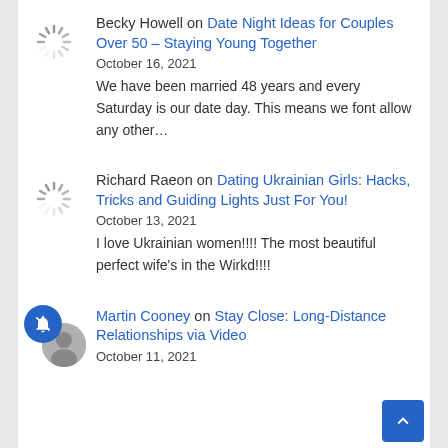Becky Howell on Date Night Ideas for Couples Over 50 – Staying Young Together
October 16, 2021
We have been married 48 years and every Saturday is our date day. This means we font allow any other…
Richard Raeon on Dating Ukrainian Girls: Hacks, Tricks and Guiding Lights Just For You!
October 13, 2021
I love Ukrainian women!!!! The most beautiful perfect wife's in the Wirkd!!!!
Martin Cooney on Stay Close: Long-Distance Relationships via Video
October 11, 2021